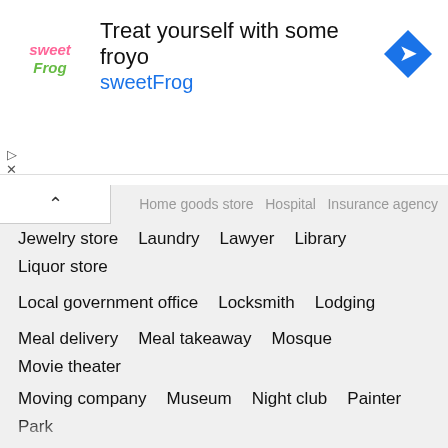[Figure (screenshot): Advertisement banner for sweetFrog frozen yogurt: logo on left, text 'Treat yourself with some froyo' and 'sweetFrog', blue diamond navigation icon on right]
Home goods store   Hospital   Insurance agency
Jewelry store   Laundry   Lawyer   Library   Liquor store
Local government office   Locksmith   Lodging
Meal delivery   Meal takeaway   Mosque   Movie theater
Moving company   Museum   Night club   Painter   Park
Parking   Pet store   Pharmacy   Physiotherapist
Place of worship   Plumber   Police   Post office
Real estate agency   Restaurant   Roofing contractor
School   Shoe store   Shopping mall   Spa   Stadium
Storage   Store   Subway station   Supermarket
Train station   Transit station   Travel agency   University